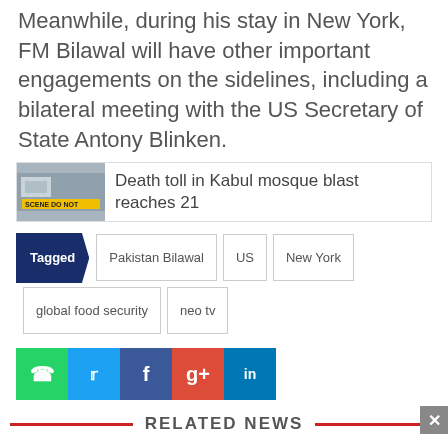Meanwhile, during his stay in New York, FM Bilawal will have other important engagements on the sidelines, including a bilateral meeting with the US Secretary of State Antony Blinken.
[Figure (other): News article link with thumbnail image showing a crime scene with yellow tape reading SCENE DO NOT, alongside headline: Death toll in Kabul mosque blast reaches 21]
Tagged: Pakistan Bilawal, US, New York, global food security, neo tv
[Figure (infographic): Social sharing buttons: WhatsApp, Twitter, Facebook, Google+, LinkedIn]
RELATED NEWS